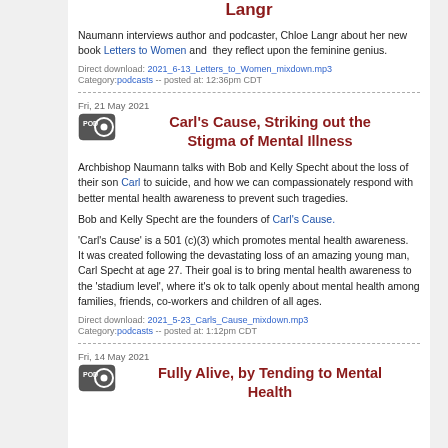Langr
Naumann interviews author and podcaster, Chloe Langr about her new book Letters to Women and  they reflect upon the feminine genius.
Direct download: 2021_6-13_Letters_to_Women_mixdown.mp3
Category:podcasts -- posted at: 12:36pm CDT
Fri, 21 May 2021
Carl's Cause, Striking out the Stigma of Mental Illness
Archbishop Naumann talks with Bob and Kelly Specht about the loss of their son Carl to suicide, and how we can compassionately respond with better mental health awareness to prevent such tragedies.
Bob and Kelly Specht are the founders of Carl's Cause.
'Carl's Cause' is a 501 (c)(3) which promotes mental health awareness.  It was created following the devastating loss of an amazing young man, Carl Specht at age 27. Their goal is to bring mental health awareness to the 'stadium level', where it's ok to talk openly about mental health among families, friends, co-workers and children of all ages.
Direct download: 2021_5-23_Carls_Cause_mixdown.mp3
Category:podcasts -- posted at: 1:12pm CDT
Fri, 14 May 2021
Fully Alive, by Tending to Mental Health